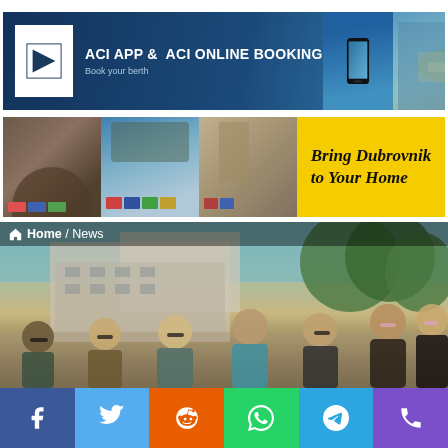[Figure (photo): ACI APP & ACI ONLINE BOOKING banner with logo, phone mockup, and aerial marina photo. Text: 'ACI APP & ACI ONLINE BOOKING / Book your berth']
[Figure (photo): Strip of three photos (Dubrovnik scenes with bandanas/souvenirs) next to yellow banner reading 'Bring Dubrovnik to Your Home']
Home / News
[Figure (photo): Group of young women in swimwear standing in front of concrete buildings and trees, outdoor summer scene]
[Figure (infographic): Social sharing bar with Facebook, Twitter, Reddit, WhatsApp, Telegram, and Phone icons]